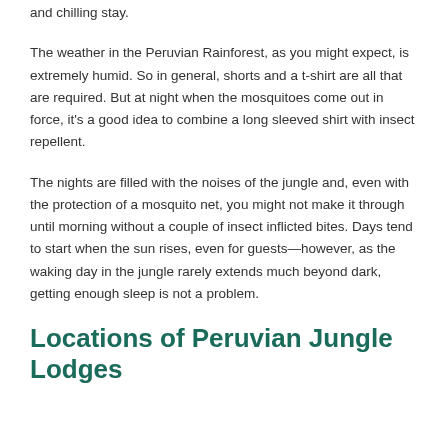and chilling stay.
The weather in the Peruvian Rainforest, as you might expect, is extremely humid. So in general, shorts and a t-shirt are all that are required. But at night when the mosquitoes come out in force, it's a good idea to combine a long sleeved shirt with insect repellent.
The nights are filled with the noises of the jungle and, even with the protection of a mosquito net, you might not make it through until morning without a couple of insect inflicted bites. Days tend to start when the sun rises, even for guests—however, as the waking day in the jungle rarely extends much beyond dark, getting enough sleep is not a problem.
Locations of Peruvian Jungle Lodges